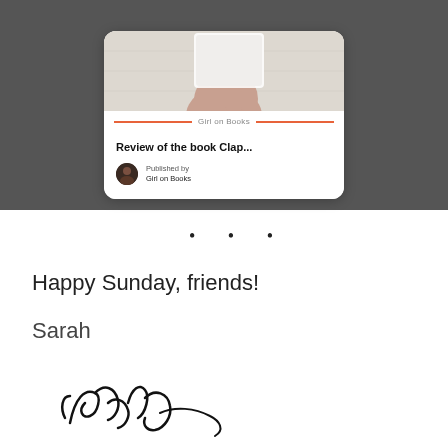[Figure (screenshot): Screenshot of a blog card for 'Girl on Books' showing a book review post titled 'Review of the book Clap...' published by Girl on Books, with an avatar photo of a woman with dark hair, displayed against a dark gray background.]
• • •
Happy Sunday, friends!
Sarah
[Figure (illustration): Cursive handwritten signature reading 'Sarah']